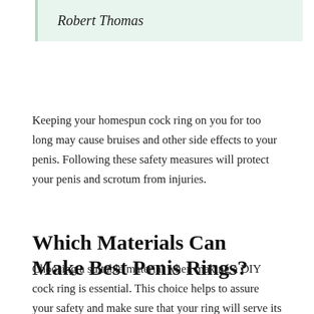Robert Thomas
Keeping your homespun cock ring on you for too long may cause bruises and other side effects to your penis. Following these safety measures will protect your penis and scrotum from injuries.
Which Materials Can Make Best Penis Rings?
Choosing a suitable material when making a DIY cock ring is essential. This choice helps to assure your safety and make sure that your ring will serve its purpose. You may choose certain materials for their strength